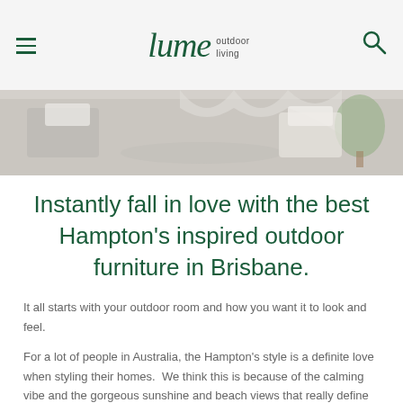Lume outdoor living
[Figure (photo): Partial view of outdoor furniture, white chairs and cushions with a plant, light neutral tones]
Instantly fall in love with the best Hampton's inspired outdoor furniture in Brisbane.
It all starts with your outdoor room and how you want it to look and feel.
For a lot of people in Australia, the Hampton's style is a definite love when styling their homes.  We think this is because of the calming vibe and the gorgeous sunshine and beach views that really define what Hampton's living